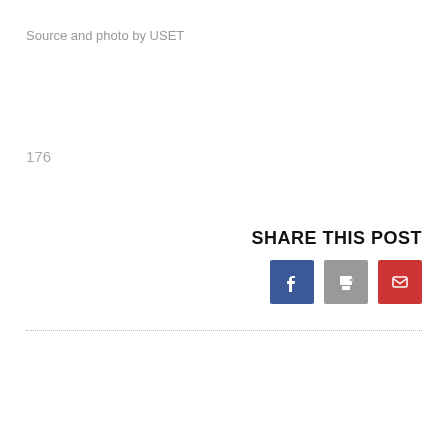Source and photo by USET
176
SHARE THIS POST
[Figure (other): Social share buttons: Facebook (blue), Print (gray), Email (red)]